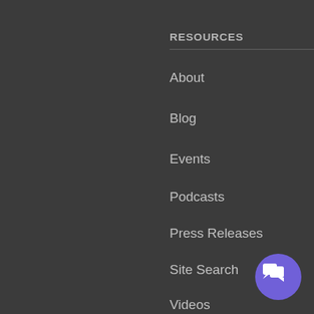RESOURCES
About
Blog
Events
Podcasts
Press Releases
Site Search
Videos
CRM SOLUTIONS
Creatio
HubSpot
[Figure (illustration): Purple circular chat bubble button with speech bubble icon in bottom-right corner]